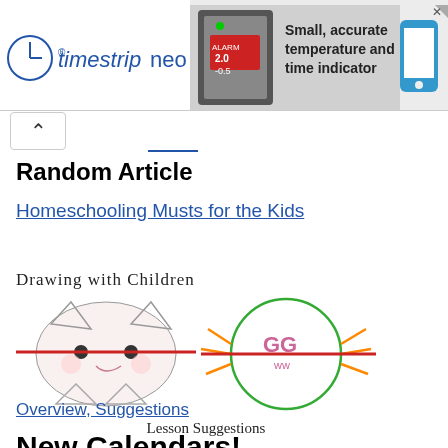[Figure (other): Advertisement banner for Timestrip Neo — a small accurate temperature and time indicator product. Shows logo with clock icon, a device image, product text, and a phone image.]
Random Article
Homeschooling Musts for the Kids
[Figure (illustration): Drawing with Children illustration showing two cartoon animal faces with red lines through them, labeled 'Lesson Suggestions']
Overview, Suggestions
New Calendars!
I have made a new calendar style. It is very much like the